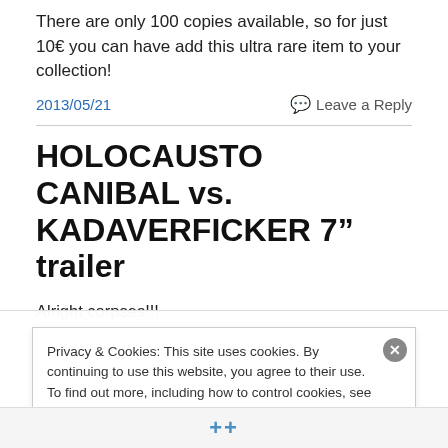There are only 100 copies available, so for just 10€ you can have add this ultra rare item to your collection!
2013/05/21
Leave a Reply
HOLOCAUSTO CANIBAL vs. KADAVERFICKER 7" trailer
Alright corpses!!!
We have something very special for you and for all the
Privacy & Cookies: This site uses cookies. By continuing to use this website, you agree to their use.
To find out more, including how to control cookies, see here: Cookie Policy
Close and accept